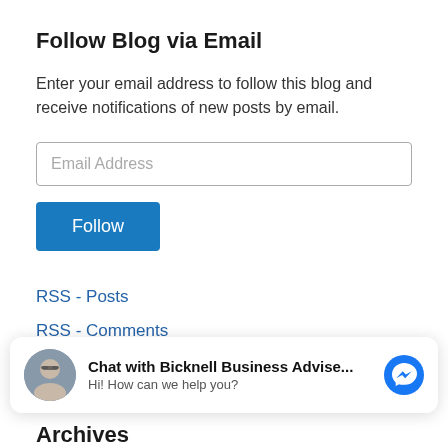Follow Blog via Email
Enter your email address to follow this blog and receive notifications of new posts by email.
Email Address
Follow
RSS - Posts
RSS - Comments
[Figure (other): Chat widget with avatar photo of a man with glasses, text 'Chat with Bicknell Business Advise...' and subtitle 'Hi! How can we help you?', with a blue Messenger icon on the right]
Archives